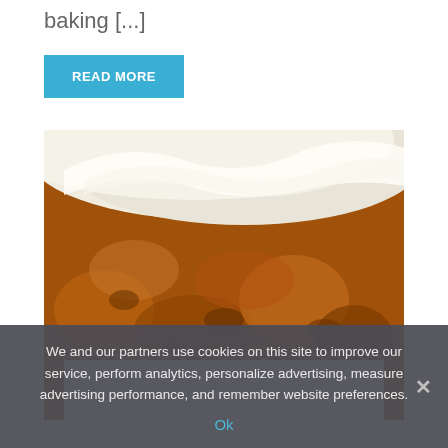baking [...]
READ MORE
[Figure (photo): Close-up photo of a cupcake with white cream cheese frosting on top and a corrugated white paper cupcake liner at the bottom, brown baked texture visible]
We and our partners use cookies on this site to improve our service, perform analytics, personalize advertising, measure advertising performance, and remember website preferences.
Ok